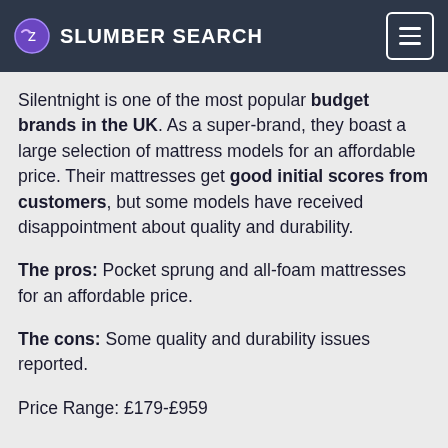SLUMBER SEARCH
Silentnight is one of the most popular budget brands in the UK. As a super-brand, they boast a large selection of mattress models for an affordable price. Their mattresses get good initial scores from customers, but some models have received disappointment about quality and durability.
The pros: Pocket sprung and all-foam mattresses for an affordable price.
The cons: Some quality and durability issues reported.
Price Range: £179-£959